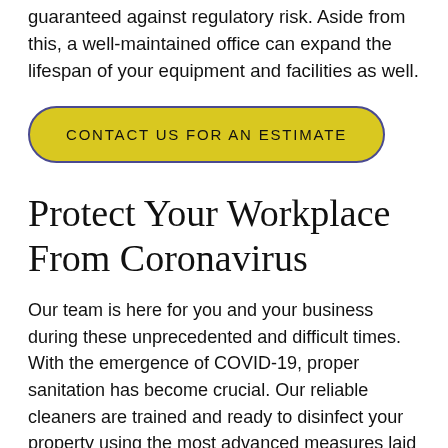guaranteed against regulatory risk. Aside from this, a well-maintained office can expand the lifespan of your equipment and facilities as well.
CONTACT US FOR AN ESTIMATE
Protect Your Workplace From Coronavirus
Our team is here for you and your business during these unprecedented and difficult times. With the emergence of COVID-19, proper sanitation has become crucial. Our reliable cleaners are trained and ready to disinfect your property using the most advanced measures laid out by the Centers for Disease Control and Prevention (CDC).